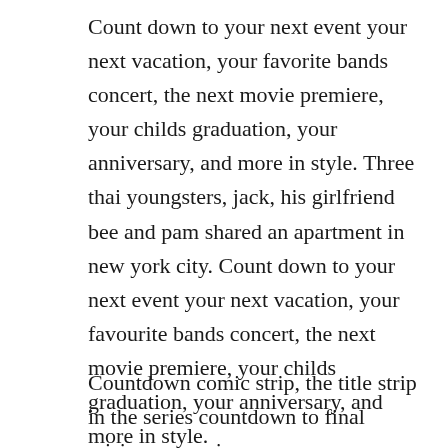Count down to your next event your next vacation, your favorite bands concert, the next movie premiere, your childs graduation, your anniversary, and more in style. Three thai youngsters, jack, his girlfriend bee and pam shared an apartment in new york city. Count down to your next event your next vacation, your favourite bands concert, the next movie premiere, your childs graduation, your anniversary, and more in style.
Countdown comic strip, the title strip in the series countdown to final crisis, an american